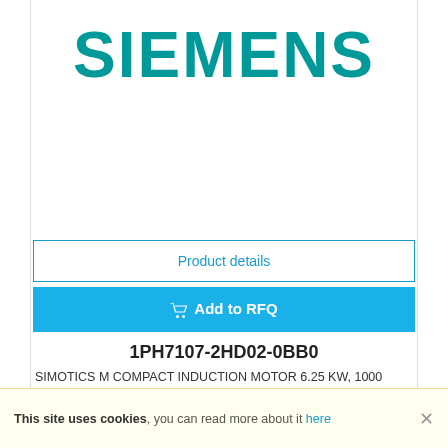[Figure (logo): SIEMENS logo in teal/dark cyan color, large bold uppercase text]
[Figure (photo): Product image area (blank/white in this view)]
Product details
Add to RFQ
1PH7107-2HD02-0BB0
SIMOTICS M COMPACT INDUCTION MOTOR 6.25 KW, 1000 RPM, 59.7 NM, VC: 7.2 KW, 1150 RPM, 59.8 NM, 17.5 A, W/O BRAKE 3AC
This site uses cookies, you can read more about it here